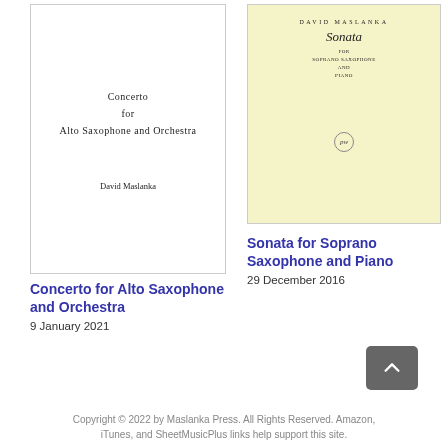[Figure (illustration): White sheet music cover for 'Concerto for Alto Saxophone and Orchestra' by David Maslanka]
[Figure (illustration): Light yellow sheet music cover for 'Sonata for Soprano Saxophone and Piano' by David Maslanka, with publisher logo]
Concerto for Alto Saxophone and Orchestra
9 January 2021
Sonata for Soprano Saxophone and Piano
29 December 2016
Copyright © 2022 by Maslanka Press. All Rights Reserved. Amazon, iTunes, and SheetMusicPlus links help support this site.